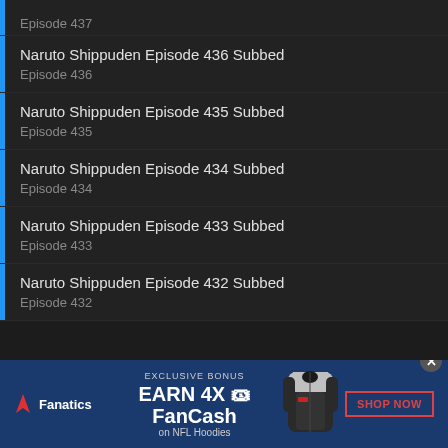Episode 437
Naruto Shippuden Episode 436 Subbed
Episode 436
Naruto Shippuden Episode 435 Subbed
Episode 435
Naruto Shippuden Episode 434 Subbed
Episode 434
Naruto Shippuden Episode 433 Subbed
Episode 433
Naruto Shippuden Episode 432 Subbed
Episode 432
[Figure (screenshot): Fanatics advertisement banner: EXCLUSIVE BONUS EARN 4X FanCash on NFL Hoodies with SHOP NOW button and hoodie image]